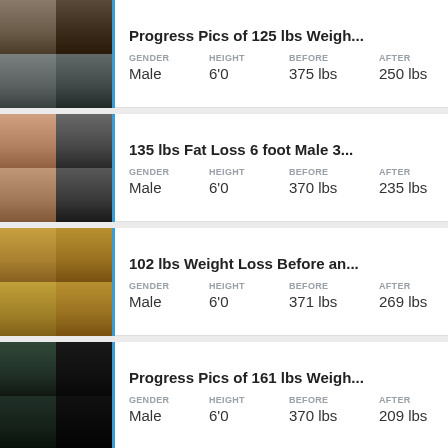[Figure (photo): Before and after grid of 4 photos showing male weight loss progress]
Progress Pics of 125 lbs Weigh...
| GENDER | HEIGHT | BEFORE | AFTER |
| --- | --- | --- | --- |
| Male | 6'0 | 375 lbs | 250 lbs |
[Figure (photo): Before and after photos of male, 6 foot, fat loss 135 lbs]
135 lbs Fat Loss 6 foot Male 3...
| GENDER | HEIGHT | BEFORE | AFTER |
| --- | --- | --- | --- |
| Male | 6'0 | 370 lbs | 235 lbs |
[Figure (photo): Grid of before and after photos showing 102 lbs weight loss, male in yellow shirt]
102 lbs Weight Loss Before an...
| GENDER | HEIGHT | BEFORE | AFTER |
| --- | --- | --- | --- |
| Male | 6'0 | 371 lbs | 269 lbs |
[Figure (photo): Before and after bodybuilding competition photos showing 161 lbs weight loss]
Progress Pics of 161 lbs Weigh...
| GENDER | HEIGHT | BEFORE | AFTER |
| --- | --- | --- | --- |
| Male | 6'0 | 370 lbs | 209 lbs |